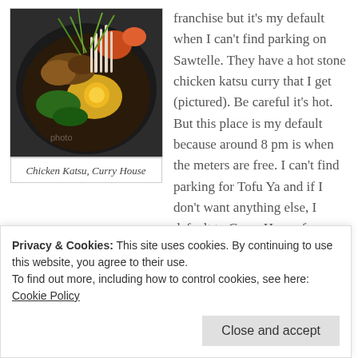[Figure (photo): Close-up photo of a hot stone bowl dish (bibimbap/curry) with mushrooms, greens, corn, egg yolk, and sprouts in a dark stone bowl]
Chicken Katsu, Curry House
franchise but it's my default when I can't find parking on Sawtelle. They have a hot stone chicken katsu curry that I get (pictured). Be careful it's hot. But this place is my default because around 8 pm is when the meters are free. I can't find parking for Tofu Ya and if I don't want anything else, I default to Curry House for their free parking.
6. Eureka: This also my other default as they have free parking
Privacy & Cookies: This site uses cookies. By continuing to use this website, you agree to their use. To find out more, including how to control cookies, see here: Cookie Policy
Close and accept